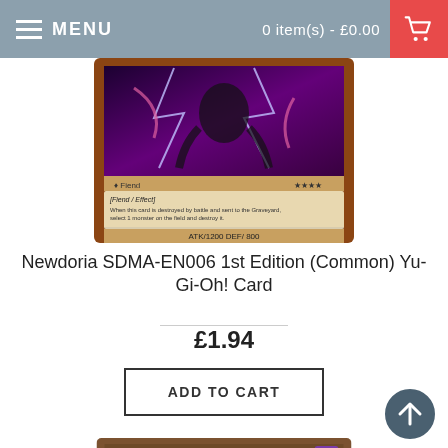MENU   0 item(s) - £0.00
[Figure (photo): Yu-Gi-Oh! card Newdoria showing monster artwork with purple/dark energy, FIEND/EFFECT type with ATK/1200 DEF/800]
Newdoria SDMA-EN006 1st Edition (Common) Yu-Gi-Oh! Card
£1.94
ADD TO CART
[Figure (photo): Yu-Gi-Oh! card Gravekeeper's Spy showing card title and stars at bottom]